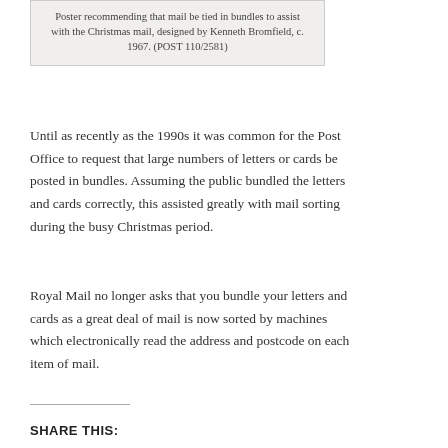Poster recommending that mail be tied in bundles to assist with the Christmas mail, designed by Kenneth Bromfield, c. 1967. (POST 110/2581)
Until as recently as the 1990s it was common for the Post Office to request that large numbers of letters or cards be posted in bundles. Assuming the public bundled the letters and cards correctly, this assisted greatly with mail sorting during the busy Christmas period.
Royal Mail no longer asks that you bundle your letters and cards as a great deal of mail is now sorted by machines which electronically read the address and postcode on each item of mail.
SHARE THIS: